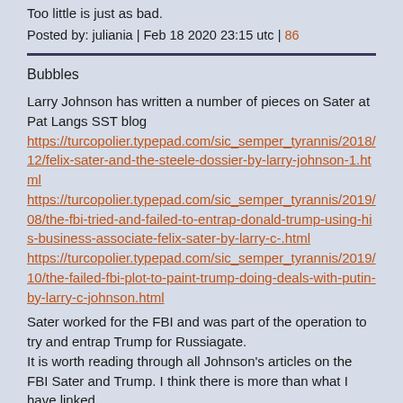Too little is just as bad.
Posted by: juliania | Feb 18 2020 23:15 utc | 86
Bubbles
Larry Johnson has written a number of pieces on Sater at Pat Langs SST blog https://turcopolier.typepad.com/sic_semper_tyrannis/2018/12/felix-sater-and-the-steele-dossier-by-larry-johnson-1.html https://turcopolier.typepad.com/sic_semper_tyrannis/2019/08/the-fbi-tried-and-failed-to-entrap-donald-trump-using-his-business-associate-felix-sater-by-larry-c-.html https://turcopolier.typepad.com/sic_semper_tyrannis/2019/10/the-failed-fbi-plot-to-paint-trump-doing-deals-with-putin-by-larry-c-johnson.html
Sater worked for the FBI and was part of the operation to try and entrap Trump for Russiagate.
It is worth reading through all Johnson's articles on the FBI Sater and Trump. I think there is more than what I have linked.
Posted by: Peter AU1 | Feb 18 2020 23:23 utc | 87
the latest article from Thierry Meyssan is again a very good summary of the West's strategy. It all makes sense, as